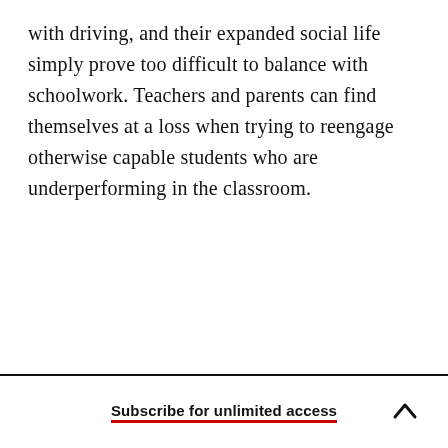with driving, and their expanded social life simply prove too difficult to balance with schoolwork. Teachers and parents can find themselves at a loss when trying to reengage otherwise capable students who are underperforming in the classroom.
Subscribe for unlimited access